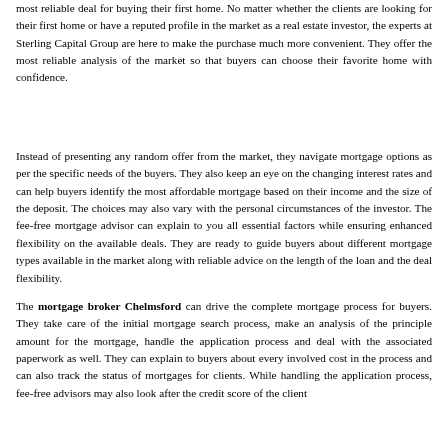most reliable deal for buying their first home. No matter whether the clients are looking for their first home or have a reputed profile in the market as a real estate investor, the experts at Sterling Capital Group are here to make the purchase much more convenient. They offer the most reliable analysis of the market so that buyers can choose their favorite home with confidence.
Instead of presenting any random offer from the market, they navigate mortgage options as per the specific needs of the buyers. They also keep an eye on the changing interest rates and can help buyers identify the most affordable mortgage based on their income and the size of the deposit. The choices may also vary with the personal circumstances of the investor. The fee-free mortgage advisor can explain to you all essential factors while ensuring enhanced flexibility on the available deals. They are ready to guide buyers about different mortgage types available in the market along with reliable advice on the length of the loan and the deal flexibility.
The mortgage broker Chelmsford can drive the complete mortgage process for buyers. They take care of the initial mortgage search process, make an analysis of the principle amount for the mortgage, handle the application process and deal with the associated paperwork as well. They can explain to buyers about every involved cost in the process and can also track the status of mortgages for clients. While handling the application process, fee-free advisors may also look after the credit score of the client